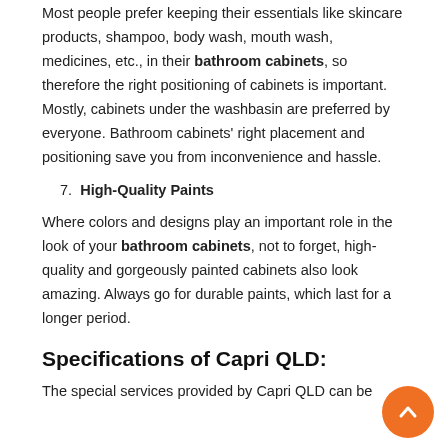Most people prefer keeping their essentials like skincare products, shampoo, body wash, mouth wash, medicines, etc., in their bathroom cabinets, so therefore the right positioning of cabinets is important. Mostly, cabinets under the washbasin are preferred by everyone. Bathroom cabinets' right placement and positioning save you from inconvenience and hassle.
7. High-Quality Paints
Where colors and designs play an important role in the look of your bathroom cabinets, not to forget, high-quality and gorgeously painted cabinets also look amazing. Always go for durable paints, which last for a longer period.
Specifications of Capri QLD:
The special services provided by Capri QLD can be